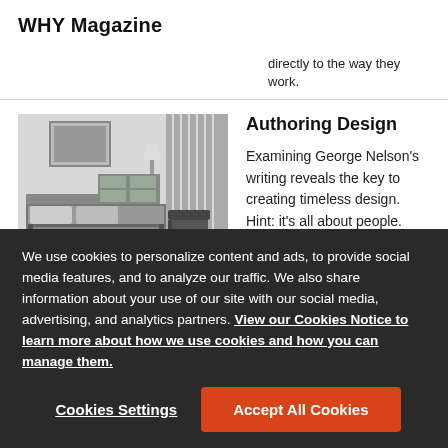WHY Magazine
directly to the way they work.
[Figure (photo): Black and white photograph of a mid-century modern bedroom with a platform bed, dresser, lounge chair, and framed art on the wall]
Authoring Design
Examining George Nelson's writing reveals the key to creating timeless design. Hint: it's all about people.
We use cookies to personalize content and ads, to provide social media features, and to analyze our traffic. We also share information about your use of our site with our social media, advertising, and analytics partners. View our Cookies Notice to learn more about how we use cookies and how you can manage them.